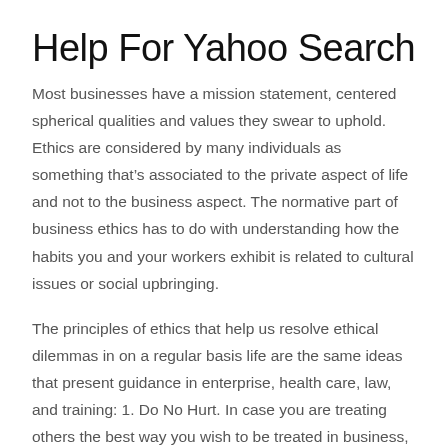Help For Yahoo Search
Most businesses have a mission statement, centered spherical qualities and values they swear to uphold. Ethics are considered by many individuals as something that’s associated to the private aspect of life and not to the business aspect. The normative part of business ethics has to do with understanding how the habits you and your workers exhibit is related to cultural issues or social upbringing.
The principles of ethics that help us resolve ethical dilemmas in on a regular basis life are the same ideas that present guidance in enterprise, health care, law, and training: 1. Do No Hurt. In case you are treating others the best way you wish to be treated in business, then extra occasions than not, you’ll be